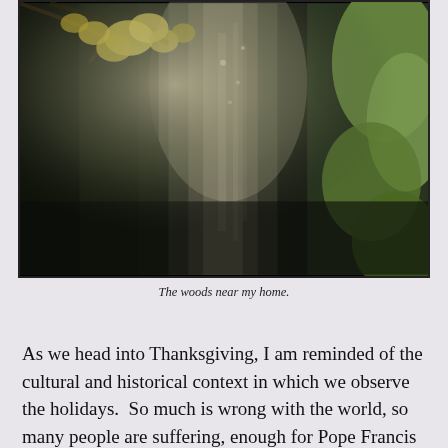[Figure (photo): A forest scene with tall evergreen trees, sunlight filtering through the canopy, and autumn-colored leaves visible on branches in the upper left. The scene shows dense woods with light rays visible between the trees.]
The woods near my home.
As we head into Thanksgiving, I am reminded of the cultural and historical context in which we observe the holidays.  So much is wrong with the world, so many people are suffering, enough for Pope Francis to call the